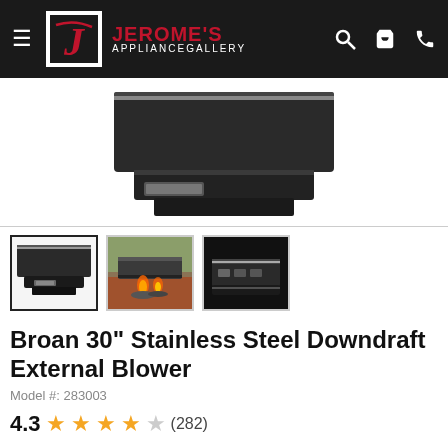[Figure (logo): Jerome's Appliance Gallery logo with red script J and store name in red and white on black background header]
[Figure (photo): Main product photo of Broan stainless steel downdraft external blower unit, dark metallic rectangular appliance on white background]
[Figure (photo): Thumbnail 1: front view of downdraft blower, black and silver unit]
[Figure (photo): Thumbnail 2: downdraft in use over gas cooktop with flames, outdoor kitchen setting]
[Figure (photo): Thumbnail 3: close-up dark image of blower unit control details]
Broan 30" Stainless Steel Downdraft External Blower
Model #: 283003
4.3 ★★★★☆ (282)